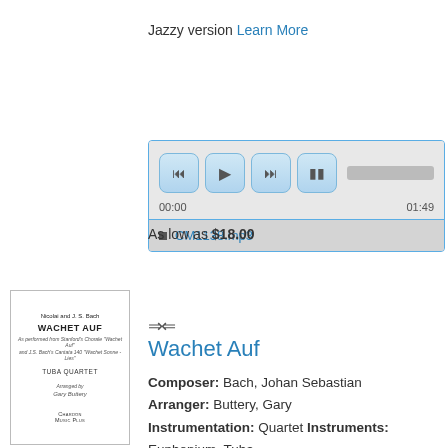Jazzy version Learn More
[Figure (screenshot): Audio player widget with rewind, play, fast-forward, stop buttons; progress bar; timestamps 00:00 and 01:49; track list showing CM1138.mp3]
As low as $18.00
Add to Cart
⇒⇐
Wachet Auf
Composer: Bach, Johan Sebastian
Arranger: Buttery, Gary
Instrumentation: Quartet Instruments: Euphonium, Tuba
[Figure (illustration): Book cover thumbnail for 'Wachet Auf' for Tuba Quartet arranged by Gary Buttery, published by Chardon Music Plus]